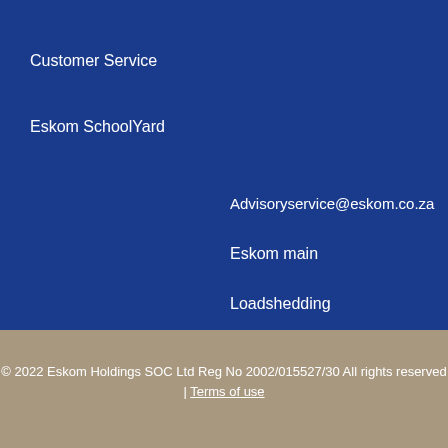Customer Service
Eskom SchoolYard
Advisoryservice@eskom.co.za
Eskom main
Loadshedding
© 2022 Eskom Holdings SOC Ltd Reg No 2002/015527/30 All rights reserved | Terms of use